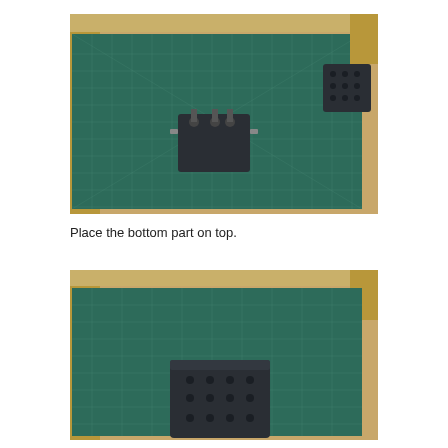[Figure (photo): A green cutting mat on a wooden surface inside a wooden frame/box. A dark gray square mechanical part with protruding pins/bolts sits in the center of the mat. Another similar dark part is visible at the upper right corner of the mat.]
Place the bottom part on top.
[Figure (photo): A green cutting mat on a wooden surface inside a wooden frame/box, showing the bottom part of a dark gray square mechanical block with multiple holes/dots on its top surface, placed on the mat.]